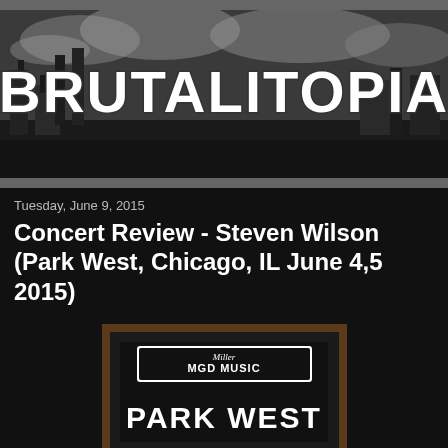[Figure (logo): Brutalitopia website banner — large grunge-style white text 'BRUTALITOPIA' over a black-and-white industrial/dystopian landscape with factory smokestacks and cloudy sky]
Tuesday, June 9, 2015
Concert Review - Steven Wilson (Park West, Chicago, IL June 4,5 2015)
[Figure (photo): Photo of Park West venue sign reading 'MGD Music / Park West / JUNE 4 & 5' on a brown/wooden marquee board with illuminated display]